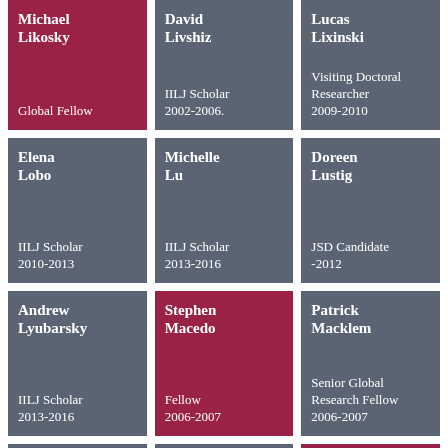Michael Likosky — Global Fellow
David Livshiz — IILJ Scholar 2002-2006.
Lucas Lixinski — Visiting Doctoral Researcher 2009-2010
Elena Lobo — IILJ Scholar 2010-2013
Michelle Lu — IILJ Scholar 2013-2016
Doreen Lustig — JSD Candidate -2012
Andrew Lyubarsky — IILJ Scholar 2013-2016
Stephen Macedo — Fellow 2006-2007
Patrick Macklem — Senior Global Research Fellow 2006-2007
Julianne ...
Sandra ...
Makane ...